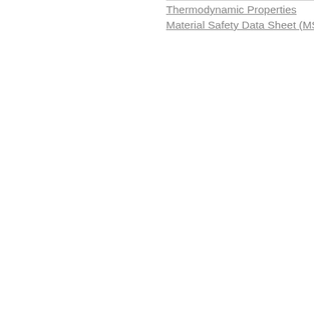Thermodynamic Properties
Material Safety Data Sheet (MSDS) - U